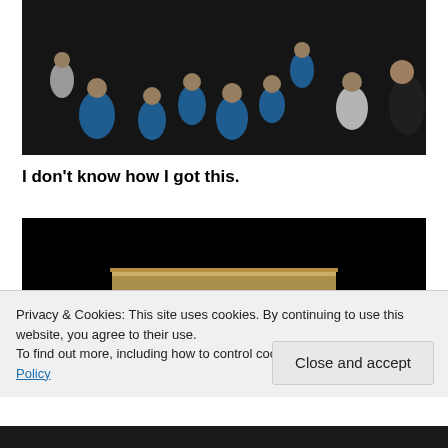[Figure (photo): Overhead/aerial nighttime photo of a group of people, many wearing blue shirts, on a dark surface. A woman in dark clothing is visible on the right edge.]
I don't know how I got this.
[Figure (photo): Nighttime photo with a dark background and a partially visible illuminated rectangular object (possibly a table or platform) in the lower center.]
Privacy & Cookies: This site uses cookies. By continuing to use this website, you agree to their use.
To find out more, including how to control cookies, see here: Cookie Policy
Close and accept